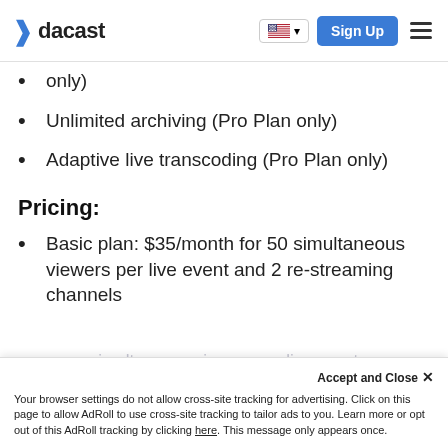dacast — Sign Up
only)
Unlimited archiving (Pro Plan only)
Adaptive live transcoding (Pro Plan only)
Pricing:
Basic plan: $35/month for 50 simultaneous viewers per live event and 2 re-streaming channels
Your browser settings do not allow cross-site tracking for advertising. Click on this page to allow AdRoll to use cross-site tracking to tailor ads to you. Learn more or opt out of this AdRoll tracking by clicking here. This message only appears once.